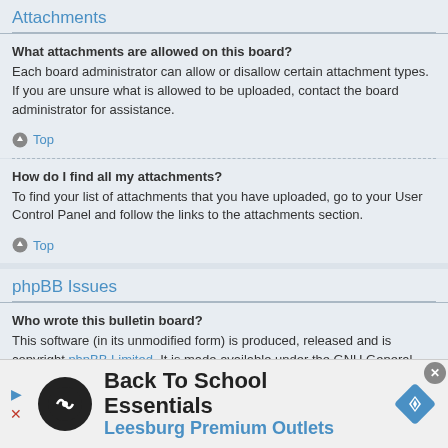Attachments
What attachments are allowed on this board?
Each board administrator can allow or disallow certain attachment types. If you are unsure what is allowed to be uploaded, contact the board administrator for assistance.
How do I find all my attachments?
To find your list of attachments that you have uploaded, go to your User Control Panel and follow the links to the attachments section.
phpBB Issues
Who wrote this bulletin board?
This software (in its unmodified form) is produced, released and is copyright phpBB Limited. It is made available under the GNU General Public License, version 2 (GPL-2.0) and may be freely distributed. See About phpBB for more
[Figure (infographic): Advertisement banner: Back To School Essentials - Leesburg Premium Outlets]